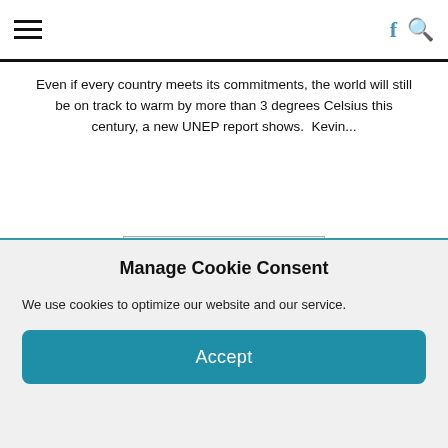≡  f 🔍
Even if every country meets its commitments, the world will still be on track to warm by more than 3 degrees Celsius this century, a new UNEP report shows.  Kevin...
FULL STORY HERE...
[Figure (photo): Tropical beach scene with a large tree silhouetted against a blue sky, sandy shore and turquoise water]
The Marshall Islands could be wiped out by climate change – and their colonial history limits their ability to save themselves
2020-12-13
Manage Cookie Consent
We use cookies to optimize our website and our service.
Accept